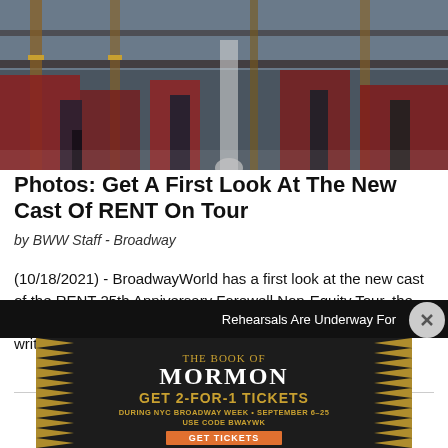[Figure (photo): Stage scene showing performers' lower bodies with colorful set pieces, pipes, scaffolding in reds, blues, golds in the background — from the RENT On Tour production.]
Photos: Get A First Look At The New Cast Of RENT On Tour
by BWW Staff - Broadway
(10/18/2021) - BroadwayWorld has a first look at the new cast of the RENT 25th Anniversary Farewell Non-Equity Tour, the Pulitzer Prize and Tony Award-winning landmark rock musical written by Jonathan Larson.
[Figure (infographic): Advertisement for The Book of Mormon: GET 2-FOR-1 TICKETS DURING NYC BROADWAY WEEK • SEPTEMBER 6–25 USE CODE BWAYWK. GET TICKETS button. Gold spiky border design on black background.]